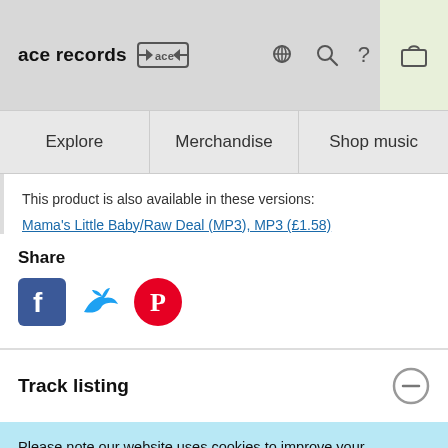ace records [ace logo] [cart] [user] [search] [?]
Explore | Merchandise | Shop music
This product is also available in these versions: Mama's Little Baby/Raw Deal (MP3), MP3 (£1.58)
Share
[Figure (illustration): Social media icons: Facebook (blue square with f), Twitter (blue bird), Pinterest (red circle with P)]
Track listing
Please note our website uses cookies to improve your experience. I understand. For more information see our Privacy Notice & Cookie Policy.